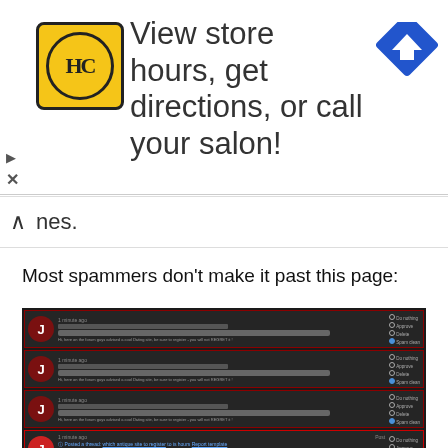[Figure (screenshot): Advertisement banner for Hairclub (HC) with yellow logo, text 'View store hours, get directions, or call your salon!', and a blue navigation arrow icon on the right]
nes.
Most spammers don't make it past this page:
[Figure (screenshot): Dark-themed forum spam moderation interface showing multiple rows of spam user entries (user 'J') each with a red border, avatar, post info bar, input bar, body text, and action options: Do nothing, Approve, Delete, Spam clean. One active row shows yellow warning 'Spam score matched (High): Akismet matched' and blue highlighted links.]